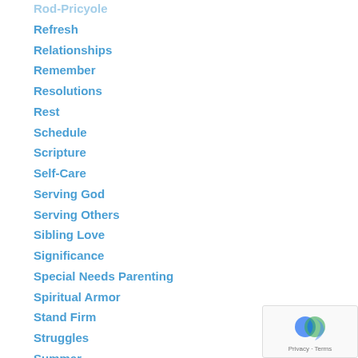Rod-Pricyole
Refresh
Relationships
Remember
Resolutions
Rest
Schedule
Scripture
Self-Care
Serving God
Serving Others
Sibling Love
Significance
Special Needs Parenting
Spiritual Armor
Stand Firm
Struggles
Summer
Support
Supposed To Be
Teens